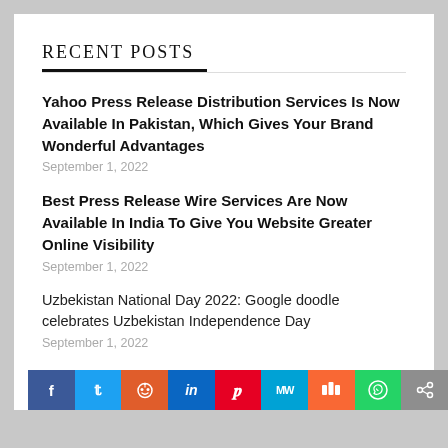RECENT POSTS
Yahoo Press Release Distribution Services Is Now Available In Pakistan, Which Gives Your Brand Wonderful Advantages
September 1, 2022
Best Press Release Wire Services Are Now Available In India To Give You Website Greater Online Visibility
September 1, 2022
Uzbekistan National Day 2022: Google doodle celebrates Uzbekistan Independence Day
September 1, 2022